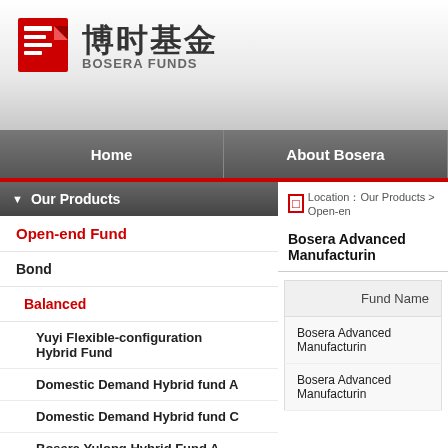[Figure (logo): Bosera Funds logo with red Chinese characters icon, Chinese text 博时基金, and English text BOSERA FUNDS]
Home | About Bosera
Our Products
Open-end Fund
Bond
Balanced
Yuyi Flexible-configuration Hybrid Fund
Domestic Demand Hybrid fund A
Domestic Demand Hybrid fund C
Bosera Yulong Hybrid Fund A
Bosera Yulong Hybrid Fund C
Bosera Industry Impetus Hybrid Fund A
Location：Our Products > Open-en...
Bosera Advanced Manufacturin...
| Fund Name |
| --- |
| Bosera Advanced Manufacturin... |
| Bosera Advanced Manufacturin... |